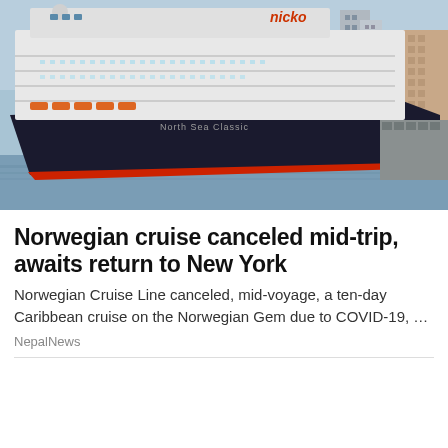[Figure (photo): A large cruise ship docked at port. The ship is white with a black hull and red trim at the waterline. The ship has the 'nicko' logo visible on the upper hull. Text on the hull reads 'North Sea Classic'. A city skyline with buildings is visible in the background.]
Norwegian cruise canceled mid-trip, awaits return to New York
Norwegian Cruise Line canceled, mid-voyage, a ten-day Caribbean cruise on the Norwegian Gem due to COVID-19, …
NepalNews